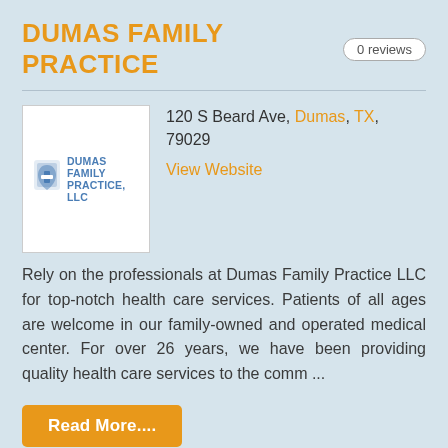DUMAS FAMILY PRACTICE
0 reviews
[Figure (logo): Dumas Family Practice LLC logo with icon and text]
120 S Beard Ave, Dumas, TX, 79029
View Website
Rely on the professionals at Dumas Family Practice LLC for top-notch health care services. Patients of all ages are welcome in our family-owned and operated medical center. For over 26 years, we have been providing quality health care services to the comm ...
Read More....
Telephone  (806) 935-9005